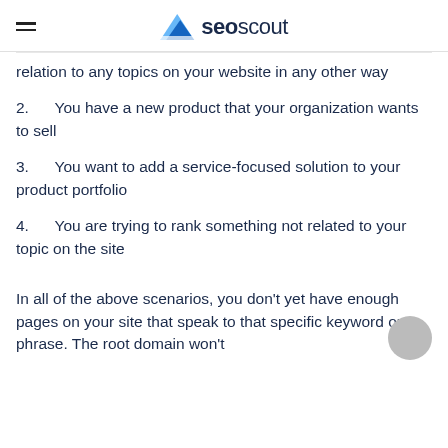seoscout
relation to any topics on your website in any other way
2.      You have a new product that your organization wants to sell
3.      You want to add a service-focused solution to your product portfolio
4.      You are trying to rank something not related to your topic on the site
In all of the above scenarios, you don't yet have enough pages on your site that speak to that specific keyword or phrase. The root domain won't